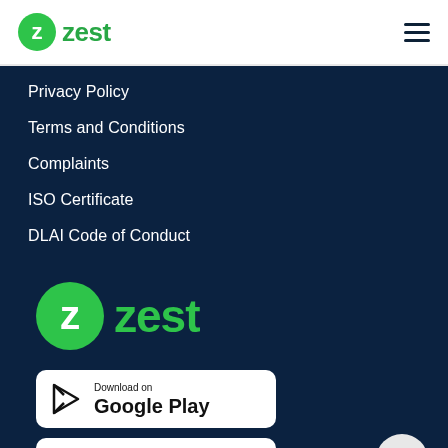zest
Privacy Policy
Terms and Conditions
Complaints
ISO Certificate
DLAI Code of Conduct
[Figure (logo): Zest logo in green - large version in footer area]
[Figure (screenshot): Download on Google Play button - white rounded rectangle badge]
[Figure (screenshot): Download on Apple App Store button - white rounded rectangle badge (partially visible)]